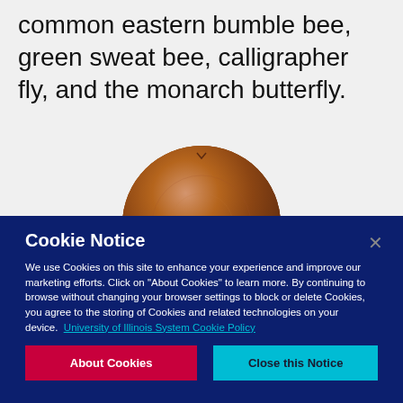common eastern bumble bee, green sweat bee, calligrapher fly, and the monarch butterfly.
[Figure (photo): Top portion of a rounded wooden object or drum, brown/mahogany colored, circular shape cropped at bottom]
Cookie Notice
We use Cookies on this site to enhance your experience and improve our marketing efforts. Click on "About Cookies" to learn more. By continuing to browse without changing your browser settings to block or delete Cookies, you agree to the storing of Cookies and related technologies on your device.  University of Illinois System Cookie Policy
About Cookies
Close this Notice